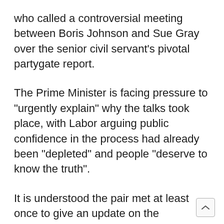who called a controversial meeting between Boris Johnson and Sue Gray over the senior civil servant’s pivotal partygate report.
The Prime Minister is facing pressure to “urgently explain” why the talks took place, with Labor arguing public confidence in the process had already been “depleted” and people “deserve to know the truth”.
It is understood the pair met at least once to give an update on the document’s progress while it was being drafted, but a Whitehall source said its contents were not discussed at any point.
The exact nature of the talks remains unclear.
Such meetings would not have been viewed as